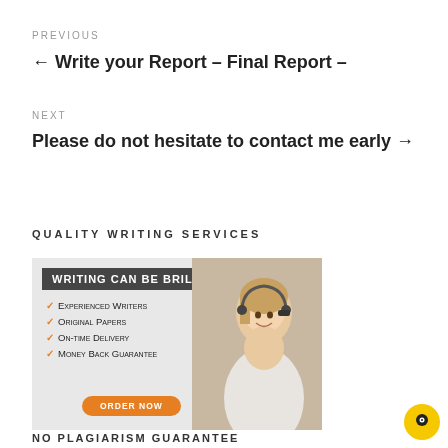PREVIOUS
← Write your Report – Final Report –
NEXT
Please do not hesitate to contact me early →
QUALITY WRITING SERVICES
[Figure (illustration): Advertisement banner for writing services showing a woman with a headset, listing: Experienced Writers, Original Papers, On-time Delivery, Money Back Guarantee, with an ORDER NOW button and headline WRITING CAN BE BRILLIANT]
NO PLAGIARISM GUARANTEE